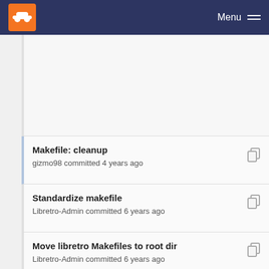Menu
Makefile: cleanup
gizmo98 committed 4 years ago
Standardize makefile
Libretro-Admin committed 6 years ago
Move libretro Makefiles to root dir
Libretro-Admin committed 6 years ago
Updates